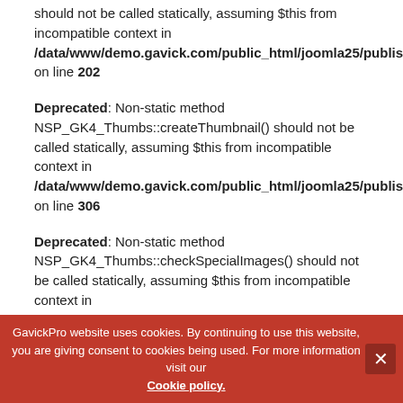should not be called statically, assuming $this from incompatible context in /data/www/demo.gavick.com/public_html/joomla25/publisher/modules/mod_news_pro_gk4/tmpl/layout.parts.php on line 202
Deprecated: Non-static method NSP_GK4_Thumbs::createThumbnail() should not be called statically, assuming $this from incompatible context in /data/www/demo.gavick.com/public_html/joomla25/publisher/modules/mod_news_pro_gk4/tmpl/layout.parts.php on line 306
Deprecated: Non-static method NSP_GK4_Thumbs::checkSpecialImages() should not be called statically, assuming $this from incompatible context in
GavickPro website uses cookies. By continuing to use this website, you are giving consent to cookies being used. For more information visit our Cookie policy.